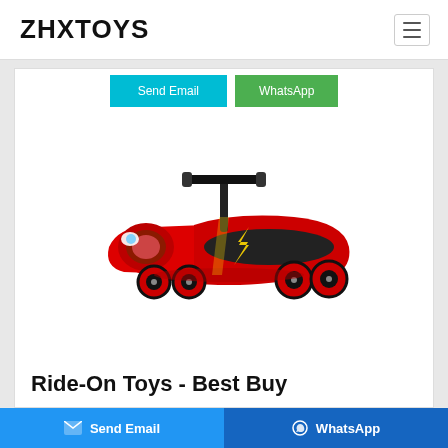ZHXTOYS
[Figure (other): Send Email (cyan button) and WhatsApp (green button) contact buttons at the top of the product card]
[Figure (photo): Red ride-on toy car resembling Lightning McQueen from Cars, with black handlebar, red body, and red wheels with black accents]
Ride-On Toys - Best Buy
[Figure (other): Bottom sticky bar with Send Email button (blue) and WhatsApp button (dark blue)]